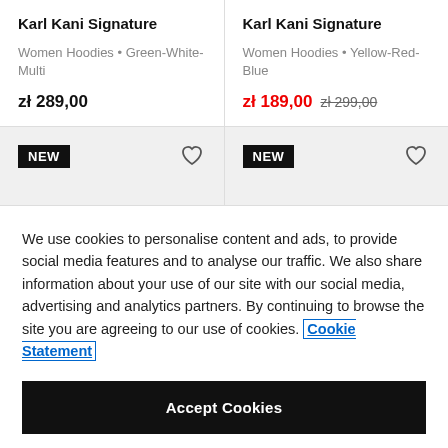Karl Kani Signature
Women Hoodies • Green-White-Multi
zł 289,00
Karl Kani Signature
Women Hoodies • Yellow-Red-Blue
zł 189,00   zł 299,00
[Figure (other): NEW badge and heart/wishlist icon on grey product card tile (left)]
[Figure (other): NEW badge and heart/wishlist icon on grey product card tile (right)]
We use cookies to personalise content and ads, to provide social media features and to analyse our traffic. We also share information about your use of our site with our social media, advertising and analytics partners. By continuing to browse the site you are agreeing to our use of cookies. Cookie Statement
Accept Cookies
Cookies Settings